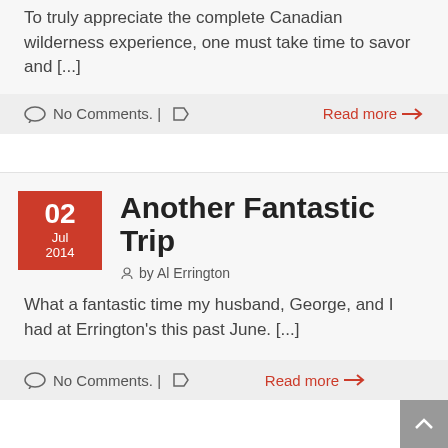To truly appreciate the complete Canadian wilderness experience, one must take time to savor and [...]
No Comments. |
Read more →
Another Fantastic Trip
by Al Errington
What a fantastic time my husband, George, and I had at Errington's this past June. [...]
No Comments. |
Read more →